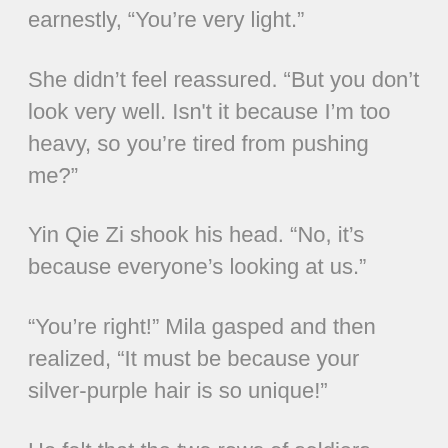earnestly, “You’re very light.”
She didn’t feel reassured. “But you don’t look very well. Isn't it because I’m too heavy, so you’re tired from pushing me?”
Yin Qie Zi shook his head. “No, it’s because everyone’s looking at us.”
“You’re right!” Mila gasped and then realized, “It must be because your silver-purple hair is so unique!”
He felt that the two rows of soldiers were far more conspicuous than his silver-purple hair. Yin Qie Zi thought about this silently.
“To tell the truth, I don’t go out often.” Mila smiled faintly. “So how should we go